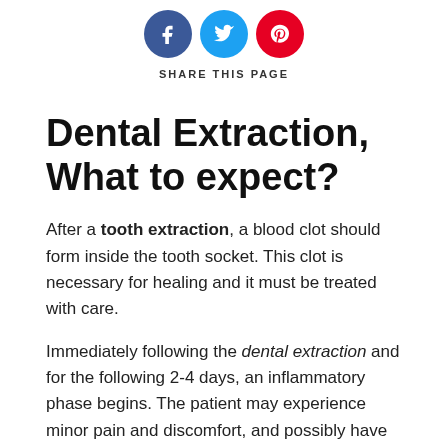[Figure (infographic): Three circular social media share buttons: Facebook (dark blue with f icon), Twitter (light blue with bird icon), Pinterest (red with p icon)]
SHARE THIS PAGE
Dental Extraction, What to expect?
After a tooth extraction, a blood clot should form inside the tooth socket. This clot is necessary for healing and it must be treated with care.
Immediately following the dental extraction and for the following 2-4 days, an inflammatory phase begins. The patient may experience minor pain and discomfort, and possibly have the taste of blood in the mouth because of minor bleeding, which is normal. The tissues around the